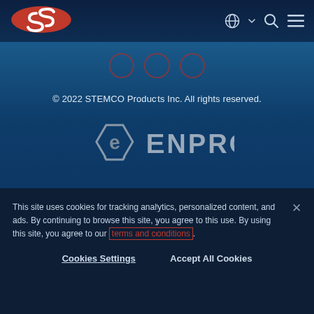[Figure (logo): STEMCO red oval S logo in navigation bar]
[Figure (logo): EnPro Industries logo with hexagonal 'e' icon and ENPRO text in gray/silver]
© 2022 STEMCO Products Inc. All rights reserved.
Legal
This site uses cookies for tracking analytics, personalized content, and ads. By continuing to browse this site, you agree to this use. By using this site, you agree to our terms and conditions.
Cookies Settings
Accept All Cookies